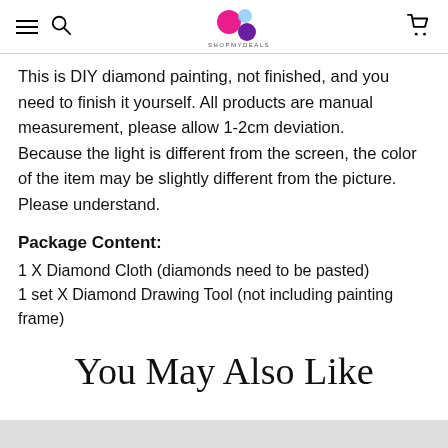SHOPMYDEALS navigation header with hamburger menu, search icon, logo, and cart icon
This is DIY diamond painting, not finished, and you need to finish it yourself. All products are manual measurement, please allow 1-2cm deviation. Because the light is different from the screen, the color of the item may be slightly different from the picture. Please understand.
Package Content:
1 X Diamond Cloth (diamonds need to be pasted)
1 set X Diamond Drawing Tool (not including painting frame)
You May Also Like